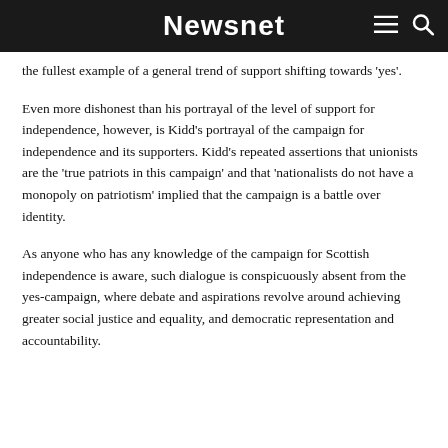Newsnet
the fullest example of a general trend of support shifting towards 'yes'.
Even more dishonest than his portrayal of the level of support for independence, however, is Kidd's portrayal of the campaign for independence and its supporters. Kidd's repeated assertions that unionists are the 'true patriots in this campaign' and that 'nationalists do not have a monopoly on patriotism' implied that the campaign is a battle over identity.
As anyone who has any knowledge of the campaign for Scottish independence is aware, such dialogue is conspicuously absent from the yes-campaign, where debate and aspirations revolve around achieving greater social justice and equality, and democratic representation and accountability.